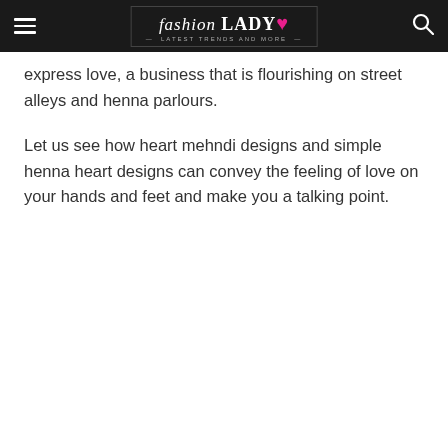fashion LADY — Latest Trends and More
express love, a business that is flourishing on street alleys and henna parlours.
Let us see how heart mehndi designs and simple henna heart designs can convey the feeling of love on your hands and feet and make you a talking point.